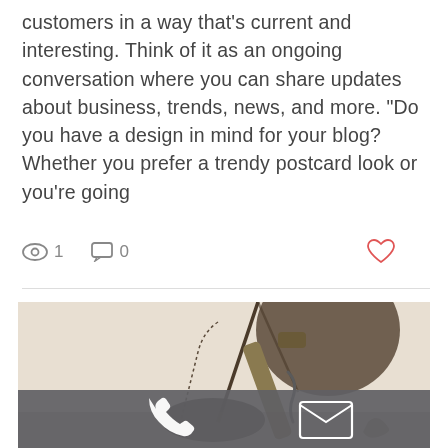customers in a way that's current and interesting. Think of it as an ongoing conversation where you can share updates about business, trends, news, and more. “Do you have a design in mind for your blog? Whether you prefer a trendy postcard look or you’re going
[Figure (screenshot): Interaction bar showing eye/view icon with count 1, comment icon with count 0, and heart/like icon]
[Figure (photo): Close-up photo of scales of justice and gavel on light background, with dark action bar overlay containing phone and email icons]